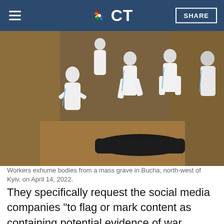CT  SHARE
[Figure (photo): Workers in white hazmat suits exhuming bodies from a mass grave in a dirt trench in Bucha, northwest of Kyiv, on April 14, 2022.]
Workers exhume bodies from a mass grave in Bucha, northwest of Kyiv, on April 14, 2022.
They specifically request the social media companies "to flag or mark content as containing potential evidence of war crimes and other atrocities."